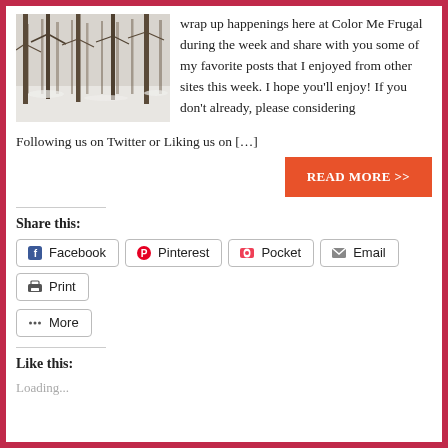[Figure (photo): Winter forest scene with bare trees and snow on the ground]
wrap up happenings here at Color Me Frugal during the week and share with you some of my favorite posts that I enjoyed from other sites this week. I hope you'll enjoy! If you don't already, please considering Following us on Twitter or Liking us on [...]
READ MORE >>
Share this:
Facebook
Pinterest
Pocket
Email
Print
More
Like this:
Loading...